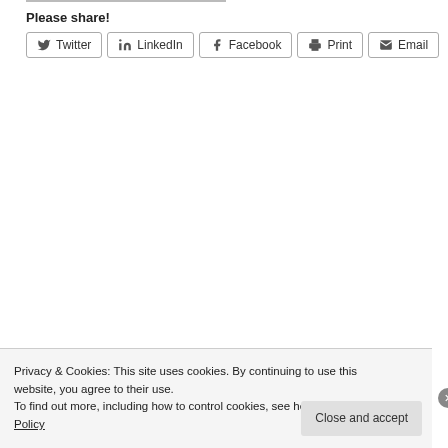Please share!
Twitter | LinkedIn | Facebook | Print | Email
Privacy & Cookies: This site uses cookies. By continuing to use this website, you agree to their use.
To find out more, including how to control cookies, see here: Cookie Policy
Close and accept